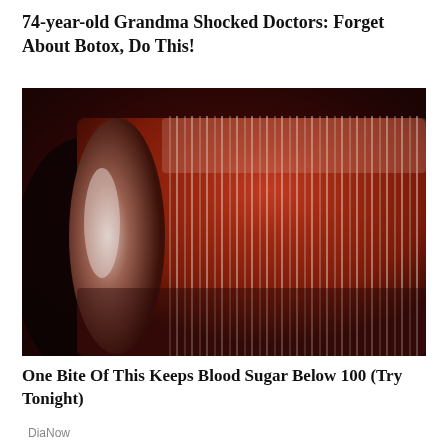74-year-old Grandma Shocked Doctors: Forget About Botox, Do This!
[Figure (photo): Close-up photo of a dark reddish-brown cylindrical object with ridged/spiral texture on its surface, resembling a food item or ingredient, photographed against a dark background.]
One Bite Of This Keeps Blood Sugar Below 100 (Try Tonight)
DiaNow